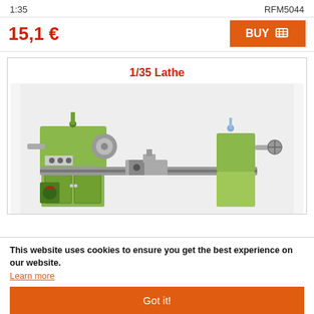1:35
RFM5044
15,1 €
BUY
1/35 Lathe
[Figure (photo): Photo of a 1/35 scale model of a green metal lathe machine on a white background]
This website uses cookies to ensure you get the best experience on our website.
Learn more
Got it!